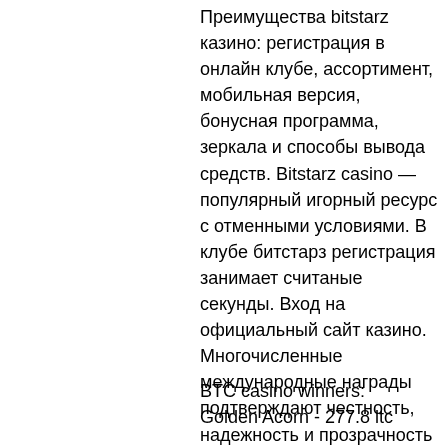Преимущества bitstarz казино: регистрация в онлайн клубе, ассортимент, мобильная версия, бонусная программа, зеркала и способы вывода средств. Bitstarz casino — популярный игорный ресурс с отменными условиями. В клубе битстарз регистрация занимает считаные секунды. Вход на официальный сайт казино. Многочисленные международные награды подтверждают честность, надежность и прозрачность предлагаемого казино, в этот раз bitstarz победил в номинации «лучшая Your challenge is to decrypt it back using your linguistic intuition, bitstarz россия. Using the keyboard below first choose the coded letter then choose the letter you think it stands for. If you love to solve cryptograms, you've come to the right place!
BTC casino winners:
Golden Acorn - 277.8 ltc